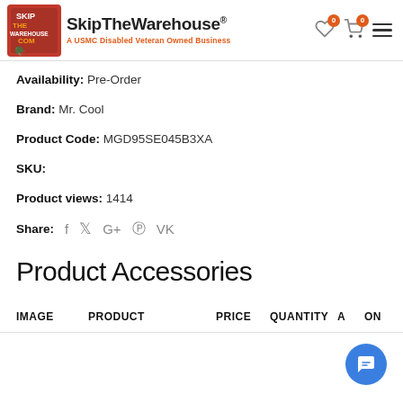[Figure (logo): SkipTheWarehouse logo with soldier graphic image on left and text 'SkipTheWarehouse' with tagline 'A USMC Disabled Veterans Owned Business' in orange]
Availability: Pre-Order
Brand: Mr. Cool
Product Code: MGD95SE045B3XA
SKU:
Product views: 1414
Share: f  𝕏  G+  ⓟ  vk
Product Accessories
| IMAGE | PRODUCT | PRICE | QUANTITY | ACTION |
| --- | --- | --- | --- | --- |